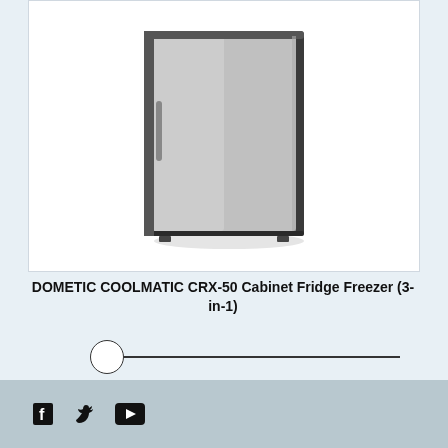[Figure (photo): DOMETIC COOLMATIC CRX-50 Cabinet Fridge Freezer product photo showing a stainless steel/silver refrigerator with black trim on a white background]
DOMETIC COOLMATIC CRX-50 Cabinet Fridge Freezer (3-in-1)
[Figure (other): Horizontal slider UI element with a circle handle on the left and a line extending to the right]
Social media icons: Facebook, Twitter, YouTube